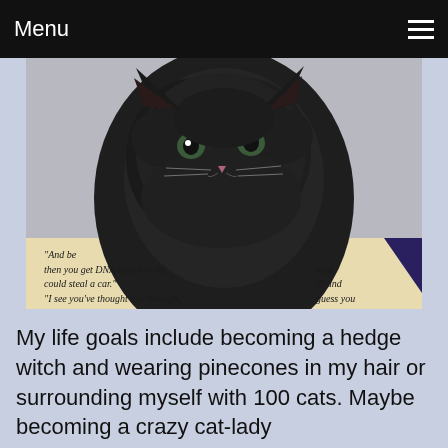Menu
[Figure (photo): A fluffy dark grey/black kitten sitting on top of an open book. The book pages show partial text including: "And be... then you get DNA traces in the... said. could steal a car." ...ill and "I see you've thought this through," I said to Dave. ...guess you Dave helped himself to the wine. "M... for dumping toxic waste. T... ervthin..." A dark blue book cover is visible on the right side.]
My life goals include becoming a hedge witch and wearing pinecones in my hair or surrounding myself with 100 cats. Maybe becoming a crazy cat-lady